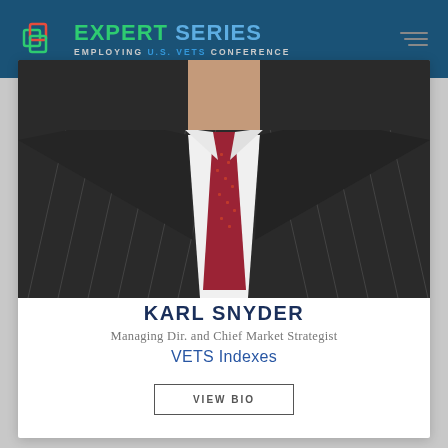Expert Series — Employing U.S. Vets Conference
[Figure (photo): Close-up photo of a man in a dark pinstripe suit with a white shirt and red tie, cropped at the chest/shoulder area.]
KARL SNYDER
Managing Dir. and Chief Market Strategist
VETS Indexes
VIEW BIO